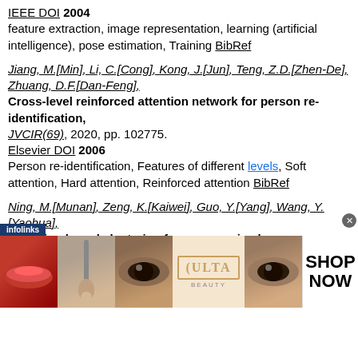IEEE DOI 2004
feature extraction, image representation, learning (artificial intelligence), pose estimation, Training BibRef
Jiang, M.[Min], Li, C.[Cong], Kong, J.[Jun], Teng, Z.D.[Zhen-De], Zhuang, D.F.[Dan-Feng],
Cross-level reinforced attention network for person re-identification,
JVCIR(69), 2020, pp. 102775.
Elsevier DOI 2006
Person re-identification, Features of different levels, Soft attention, Hard attention, Reinforced attention BibRef
Ning, M.[Munan], Zeng, K.[Kaiwei], Guo, Y.[Yang], Wang, Y.[Yaohua],
Deviation based clustering for unsupervised person re-identification,
PRL(135), 2020, pp. 237-243.
Elsevier DOI 2006
[Figure (photo): Infolinks advertisement banner with beauty/makeup themed images (lips, brush, eyes) and ULTA beauty logo with SHOP NOW call to action]